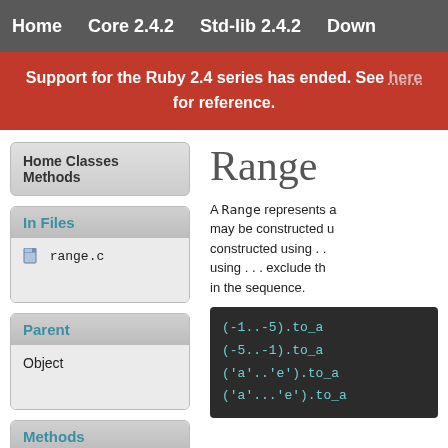Home  Core 2.4.2  Std-lib 2.4.2  Down
Support for the Ruby 2.4 series has ended. See here for reference.
Home Classes Methods
In Files
range.c
Parent
Object
Methods
::new
Range
A Range represents a may be constructed u constructed using . . using . . . exclude th in the sequence.
[Figure (screenshot): Code block showing Ruby Range examples: (-1..-5).to_a, (-5..-1).to_a, ('a'..'e').to_a, ('a'...'e').to_a]